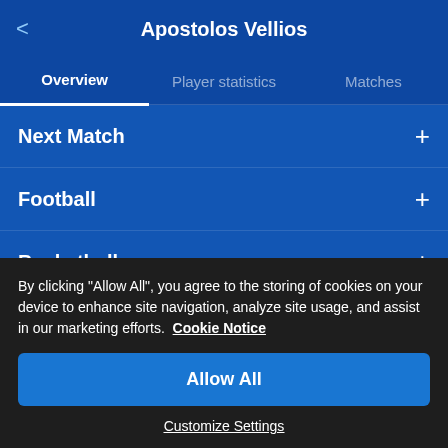Apostolos Vellios
Overview | Player statistics | Matches
Next Match +
Football +
Basketball +
Visit localized Football live score version of AiScore +
By clicking "Allow All", you agree to the storing of cookies on your device to enhance site navigation, analyze site usage, and assist in our marketing efforts.  Cookie Notice
Allow All
Customize Settings